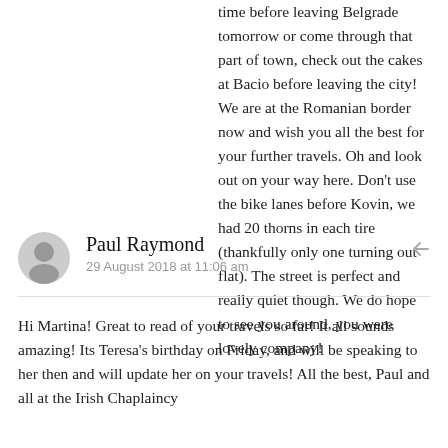time before leaving Belgrade tomorrow or come through that part of town, check out the cakes at Bacio before leaving the city! We are at the Romanian border now and wish you all the best for your further travels. Oh and look out on your way here. Don't use the bike lanes before Kovin, we had 20 thorns in each tire (thankfully only one turning out flat). The street is perfect and really quiet though. We do hope to see you around, you were lovely company!
Paul Raymond
29 August 2018 at 11:06 am
Hi Martina! Great to read of your travels so far! It all sounds amazing! Its Teresa's birthday on Friday, and will be speaking to her then and will update her on your travels! All the best, Paul and all at the Irish Chaplaincy